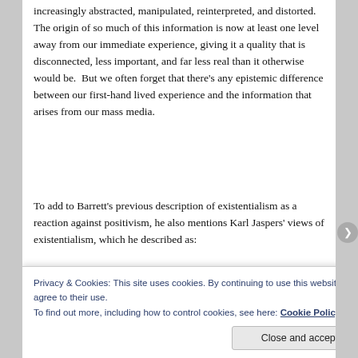increasingly abstracted, manipulated, reinterpreted, and distorted. The origin of so much of this information is now at least one level away from our immediate experience, giving it a quality that is disconnected, less important, and far less real than it otherwise would be. But we often forget that there's any epistemic difference between our first-hand lived experience and the information that arises from our mass media.
To add to Barrett's previous description of existentialism as a reaction against positivism, he also mentions Karl Jaspers' views of existentialism, which he described as:
“…a struggle to awaken in the individual the possibilities of an authentic and genuine life, in the fact of the great modern drift
Privacy & Cookies: This site uses cookies. By continuing to use this website, you agree to their use.
To find out more, including how to control cookies, see here: Cookie Policy